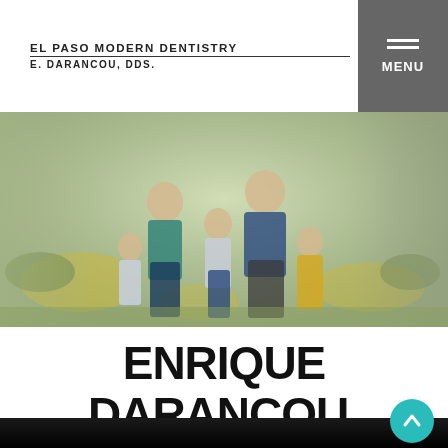EL PASO MODERN DENTISTRY
E. DARANCOU, DDS.
[Figure (photo): Family portrait photo of Enrique Darancou and his family (couple with three children) standing outdoors in a field with yellow flowers and desert shrubs.]
ENRIQUE DARANCOU, DDS
Home » Enrique Darancou, DDS